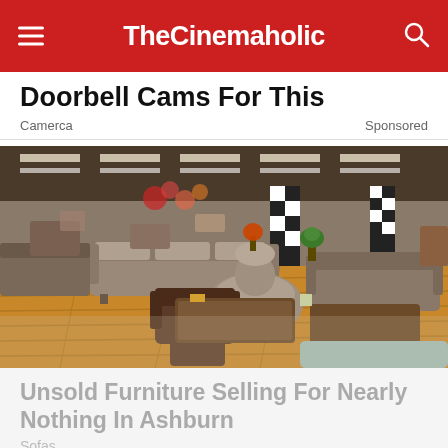TheCinemaholic
Doorbell Cams For This
Camerca    Sponsored
[Figure (photo): Interior of a large furniture showroom with sofas, armchairs, coffee tables displayed on hardwood floors under bright ceiling lights.]
Unsold Furniture Selling For Nearly Nothing In Ashburn
Sofas